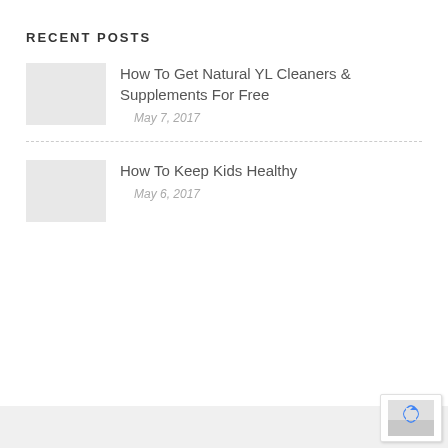RECENT POSTS
How To Get Natural YL Cleaners & Supplements For Free
May 7, 2017
How To Keep Kids Healthy
May 6, 2017